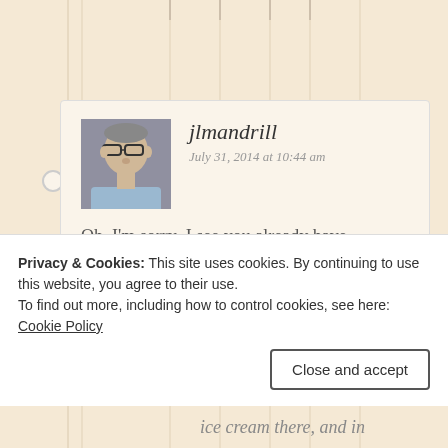[Figure (screenshot): Blog comment by user jlmandrill dated July 31, 2014 at 10:44 am with avatar photo, comment text 'Oh, I'm sorry–I see you already have.', a Like button with star, and a Reply button]
Privacy & Cookies: This site uses cookies. By continuing to use this website, you agree to their use.
To find out more, including how to control cookies, see here: Cookie Policy
Close and accept
ice cream there, and in